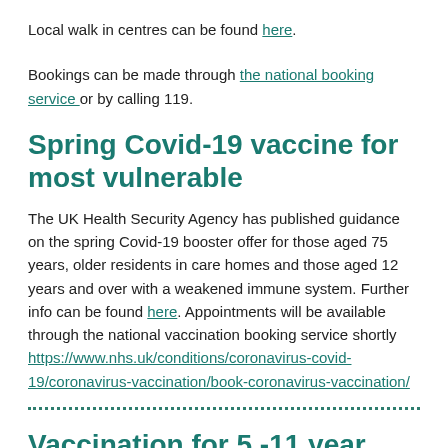Local walk in centres can be found here.
Bookings can be made through the national booking service or by calling 119.
Spring Covid-19 vaccine for most vulnerable
The UK Health Security Agency has published guidance on the spring Covid-19 booster offer for those aged 75 years, older residents in care homes and those aged 12 years and over with a weakened immune system. Further info can be found here. Appointments will be available through the national vaccination booking service shortly https://www.nhs.uk/conditions/coronavirus-covid-19/coronavirus-vaccination/book-coronavirus-vaccination/
Vaccination for 5 -11 year olds - not clinically at risk